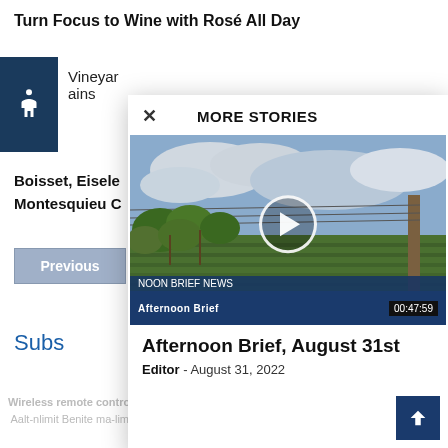Turn Focus to Wine with Rosé All Day
Vineyard
ains
Boisset, Eisele
Montesquieu C
Previous
Subs
MORE STORIES
[Figure (screenshot): Video thumbnail showing a vineyard scene with grapevines, fencing, and cloudy sky. A play button circle is centered on the image. Lower bar shows 'NOON BRIEF NEWS / Afternoon Brief' and duration '00:47:59'.]
Afternoon Brief, August 31st
Editor - August 31, 2022
Wireless remote control  Innovative American ma
Aalt-nlimit Benite ma-lim